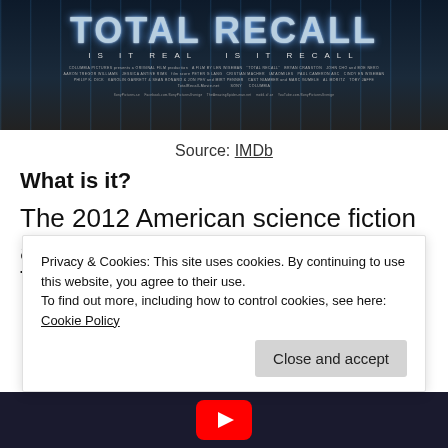[Figure (photo): Movie poster for Total Recall (2012) showing title text 'TOTAL RECALL IS IT REAL IS IT RECALL' with dark sci-fi background, credits and studio logos]
Source: IMDb
What is it?
The 2012 American science fiction action film Total Recall
Privacy & Cookies: This site uses cookies. By continuing to use this website, you agree to their use.
To find out more, including how to control cookies, see here: Cookie Policy
[Figure (screenshot): Dark video thumbnail strip at bottom with YouTube play button visible]